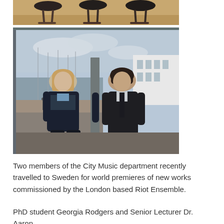[Figure (photo): Partial view of modern chairs (tops of chair backs visible) on a wooden floor in an interior setting]
[Figure (photo): Two people (a young woman on the left and a young man on the right) standing indoors in front of large windows overlooking a marina with sailboats and a modern white building outside]
Two members of the City Music department recently travelled to Sweden for world premieres of new works commissioned by the London based Riot Ensemble.
PhD student Georgia Rodgers and Senior Lecturer Dr. Aaron